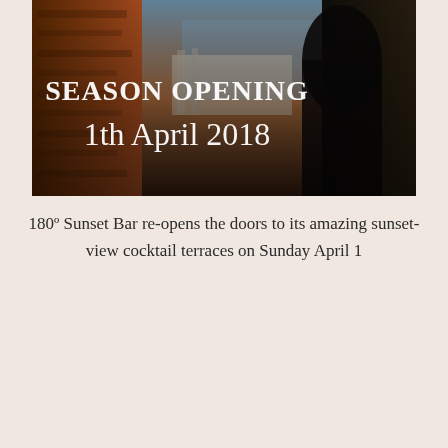[Figure (photo): Scenic photo of a Mediterranean coastal town at sunset viewed through stone ruins, with text overlay reading 'SEASON OPENING 1th April 2018' in white serif font]
180º Sunset Bar re-opens the doors to its amazing sunset-view cocktail terraces on Sunday April 1